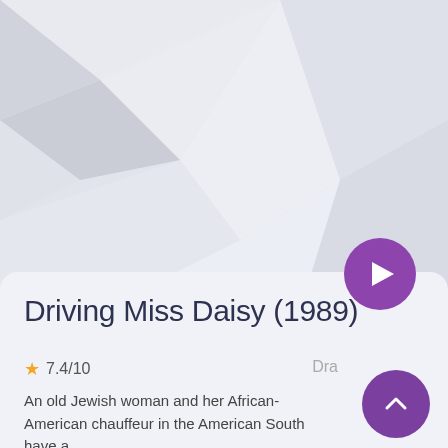[Figure (illustration): Geometric low-poly abstract background in light grey and lavender tones, resembling faceted crystal shapes]
Driving Miss Daisy (1989)
7.4/10
Dra
An old Jewish woman and her African-American chauffeur in the American South have a